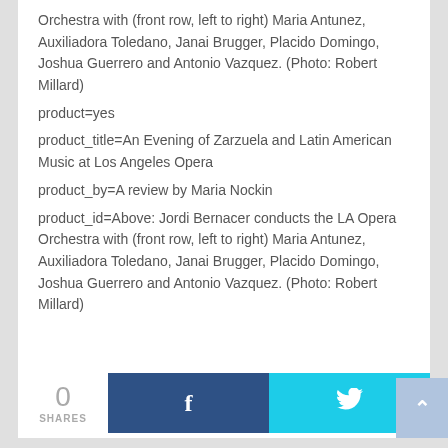Orchestra with (front row, left to right) Maria Antunez, Auxiliadora Toledano, Janai Brugger, Placido Domingo, Joshua Guerrero and Antonio Vazquez. (Photo: Robert Millard)
product=yes
product_title=An Evening of Zarzuela and Latin American Music at Los Angeles Opera
product_by=A review by Maria Nockin
product_id=Above: Jordi Bernacer conducts the LA Opera Orchestra with (front row, left to right) Maria Antunez, Auxiliadora Toledano, Janai Brugger, Placido Domingo, Joshua Guerrero and Antonio Vazquez. (Photo: Robert Millard)
0 SHARES